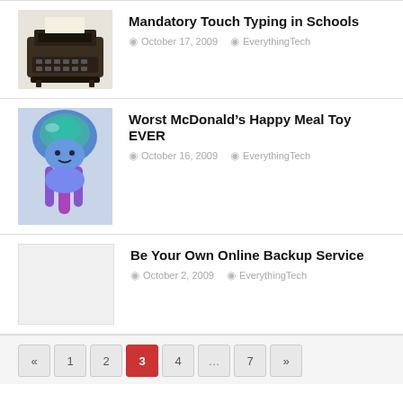[Figure (photo): Old typewriter image thumbnail]
Mandatory Touch Typing in Schools
October 17, 2009   EverythingTech
[Figure (photo): Blue and purple jellyfish-like McDonald's Happy Meal toy]
Worst McDonald’s Happy Meal Toy EVER
October 16, 2009   EverythingTech
[Figure (photo): Blank/placeholder thumbnail]
Be Your Own Online Backup Service
October 2, 2009   EverythingTech
«  1  2  3  4  …  7  »